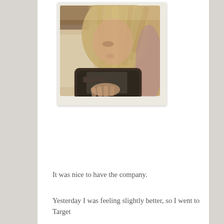[Figure (photo): A young girl with straight blonde hair looking down at a tablet device in a black case, wearing a light pink/purple top, sitting against what appears to be white bedding. Photo has a warm vintage/Instagram filter and is displayed in a polaroid-style frame with rounded corners.]
It was nice to have the company.
Yesterday I was feeling slightly better, so I went to Target...